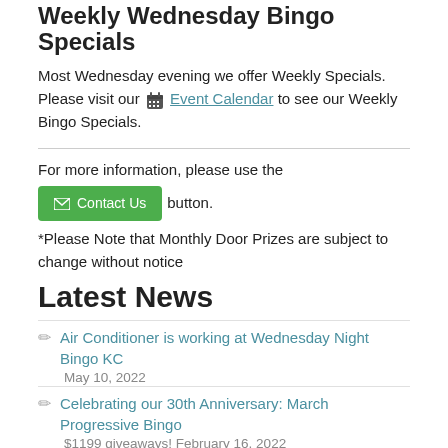Weekly Wednesday Bingo Specials
Most Wednesday evening we offer Weekly Specials.  Please visit our 📅 Event Calendar to see our Weekly Bingo Specials.
For more information, please use the [Contact Us] button.
*Please Note that Monthly Door Prizes are subject to change without notice
Latest News
Air Conditioner is working at Wednesday Night Bingo KC
May 10, 2022
Celebrating our 30th Anniversary: March Progressive Bingo $1199 giveaways! February 16, 2022